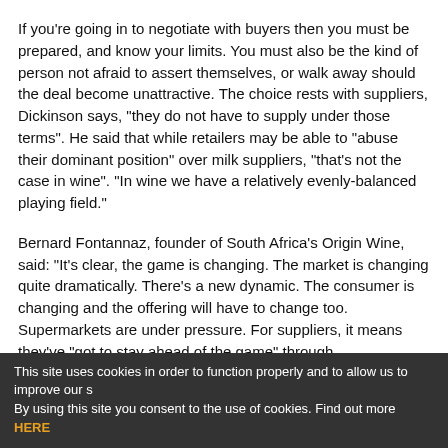If you're going in to negotiate with buyers then you must be prepared, and know your limits. You must also be the kind of person not afraid to assert themselves, or walk away should the deal become unattractive. The choice rests with suppliers, Dickinson says, "they do not have to supply under those terms". He said that while retailers may be able to "abuse their dominant position" over milk suppliers, "that's not the case in wine". "In wine we have a relatively evenly-balanced playing field."
Bernard Fontannaz, founder of South Africa's Origin Wine, said: "It's clear, the game is changing. The market is changing quite dramatically. There's a new dynamic. The consumer is changing and the offering will have to change too. Supermarkets are under pressure. For suppliers, it means they've "got to stay ahead of the game" through understanding consumer needs, and delivering products to cater for them in an effective way. "It's about who can adopt fastest," he said.
This site uses cookies in order to function properly and to allow us to improve our s By using this site you consent to the use of cookies. Find out more HERE